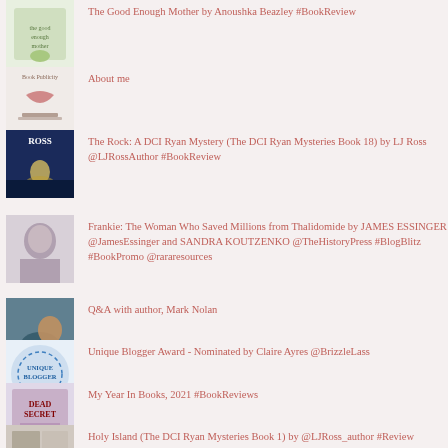The Good Enough Mother by Anoushka Beazley #BookReview
About me
The Rock: A DCI Ryan Mystery (The DCI Ryan Mysteries Book 18) by LJ Ross @LJRossAuthor #BookReview
Frankie: The Woman Who Saved Millions from Thalidomide by JAMES ESSINGER @JamesEssinger and SANDRA KOUTZENKO @TheHistoryPress #BlogBlitz #BookPromo @rararesources
Q&A with author, Mark Nolan
Unique Blogger Award - Nominated by Claire Ayres @BrizzleLass
My Year In Books, 2021 #BookReviews
Holy Island (The DCI Ryan Mysteries Book 1) by @LJRoss_author #Review